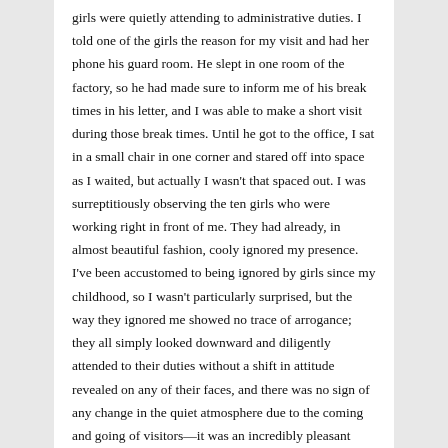girls were quietly attending to administrative duties. I told one of the girls the reason for my visit and had her phone his guard room. He slept in one room of the factory, so he had made sure to inform me of his break times in his letter, and I was able to make a short visit during those break times. Until he got to the office, I sat in a small chair in one corner and stared off into space as I waited, but actually I wasn't that spaced out. I was surreptitiously observing the ten girls who were working right in front of me. They had already, in almost beautiful fashion, cooly ignored my presence. I've been accustomed to being ignored by girls since my childhood, so I wasn't particularly surprised, but the way they ignored me showed no trace of arrogance; they all simply looked downward and diligently attended to their duties without a shift in attitude revealed on any of their faces, and there was no sign of any change in the quiet atmosphere due to the coming and going of visitors—it was an incredibly pleasant scene; I could hear only the crisp sounds of the abacus and the turning of pages in the ledgers. There weren't noticeable expressions on any of the girls faces, which made them seem like identically colored butterflies quietly lined up on the branch of a flower, but there was one who, for some reason, had an unforgettable impression. This is a